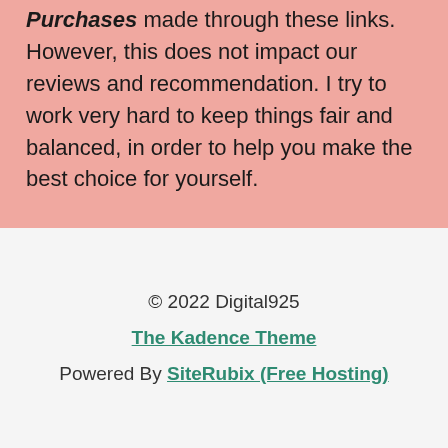Purchases made through these links. However, this does not impact our reviews and recommendation. I try to work very hard to keep things fair and balanced, in order to help you make the best choice for yourself.
© 2022 Digital925
The Kadence Theme
Powered By SiteRubix (Free Hosting)